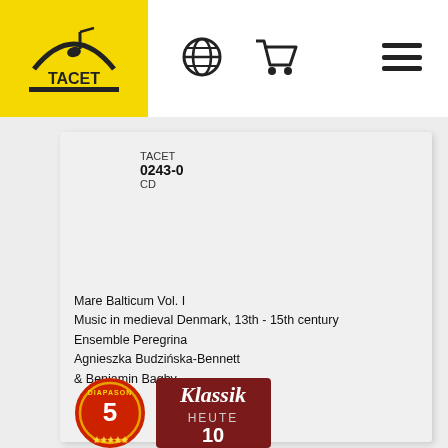[Figure (logo): TACET music label logo on yellow background with musical note and record player motif]
[Figure (illustration): Globe/world icon for language or region selection]
[Figure (illustration): Shopping cart icon]
[Figure (illustration): Hamburger menu icon (three horizontal lines)]
TACET
0243-0
CD
Mare Balticum Vol. I
Music in medieval Denmark, 13th - 15th century
Ensemble Peregrina
Agnieszka Budzińska-Bennett
& Benjamin Bagby
[Figure (illustration): Diapason 5 award badge - circular red badge with number 5]
[Figure (illustration): Klassik Heute 10 award badge - dark red rectangular badge]
[Figure (photo): Album cover thumbnail showing musical instruments, partially visible]
TACET
0242-1
LP - 180g
[Figure (illustration): Yellow circular scroll-to-top button with upward chevron]